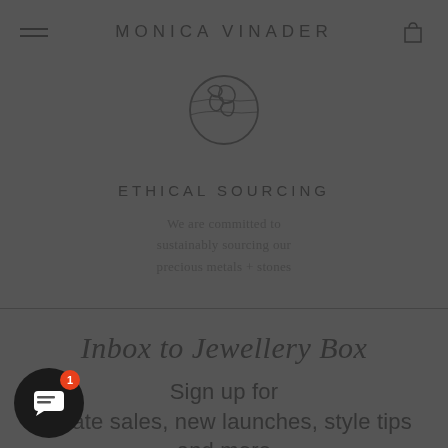MONICA VINADER
[Figure (illustration): Globe/earth outline icon in dark gray line art style]
ETHICAL SOURCING
We are committed to sustainably sourcing our precious metals + stones
Inbox to Jewellery Box
Sign up for private sales, new launches, style tips and more